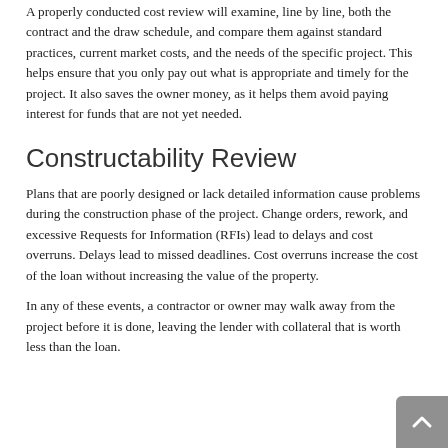A properly conducted cost review will examine, line by line, both the contract and the draw schedule, and compare them against standard practices, current market costs, and the needs of the specific project. This helps ensure that you only pay out what is appropriate and timely for the project. It also saves the owner money, as it helps them avoid paying interest for funds that are not yet needed.
Constructability Review
Plans that are poorly designed or lack detailed information cause problems during the construction phase of the project. Change orders, rework, and excessive Requests for Information (RFIs) lead to delays and cost overruns. Delays lead to missed deadlines. Cost overruns increase the cost of the loan without increasing the value of the property.
In any of these events, a contractor or owner may walk away from the project before it is done, leaving the lender with collateral that is worth less than the loan.